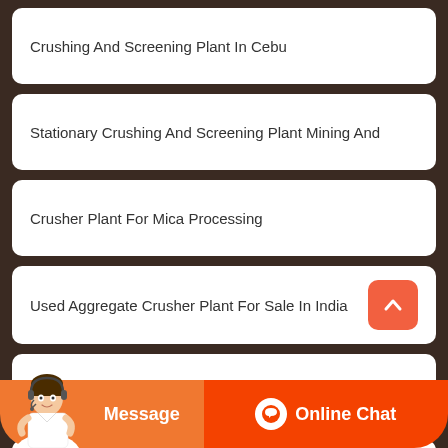Crushing And Screening Plant In Cebu
Stationary Crushing And Screening Plant Mining And
Crusher Plant For Mica Processing
Used Aggregate Crusher Plant For Sale In India
Granite Crusher Processing Equipment China
Major Crusher Manufacturer